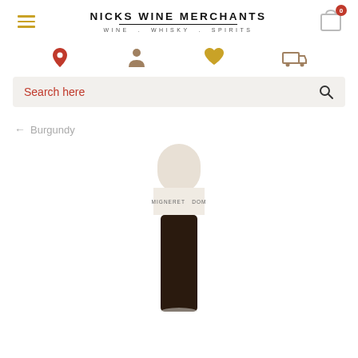NICKS WINE MERCHANTS WINE . WHISKY . SPIRITS
[Figure (screenshot): Search bar with placeholder text 'Search here' and a search icon on a light grey background]
← Burgundy
[Figure (photo): Top portion of a wine bottle showing a cream/off-white capsule and neck label reading 'MIGNERET DOM...' against a white background]